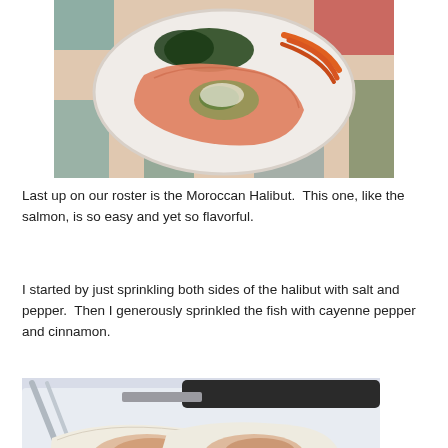[Figure (photo): A cooked salmon fillet on a decorative plate with carrots and dark leafy greens, viewed from above]
Last up on our roster is the Moroccan Halibut.  This one, like the salmon, is so easy and yet so flavorful.
I started by just sprinkling both sides of the halibut with salt and pepper.  Then I generously sprinkled the fish with cayenne pepper and cinnamon.
[Figure (photo): Two raw halibut fillets dusted with spices (cayenne pepper and cinnamon) on a light surface, with a fork and knife visible]